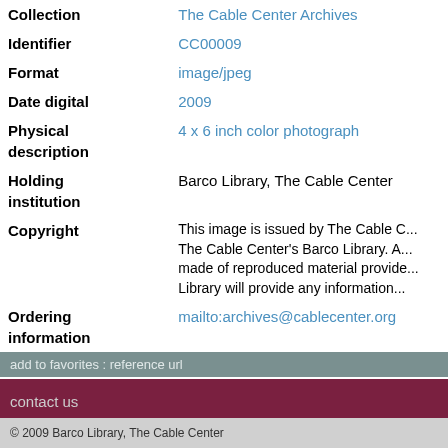| Field | Value |
| --- | --- |
| Collection | The Cable Center Archives |
| Identifier | CC00009 |
| Format | image/jpeg |
| Date digital | 2009 |
| Physical description | 4 x 6 inch color photograph |
| Holding institution | Barco Library, The Cable Center |
| Copyright | This image is issued by The Cable C... The Cable Center's Barco Library. A... made of reproduced material provide... Library will provide any information... |
| Ordering information | mailto:archives@cablecenter.org |
add to favorites : reference url
contact us
© 2009 Barco Library, The Cable Center